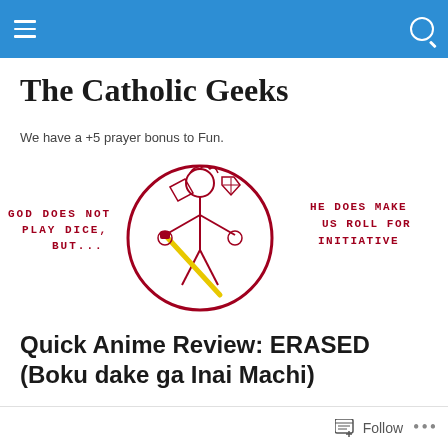The Catholic Geeks — navigation bar
The Catholic Geeks
We have a +5 prayer bonus to Fun.
[Figure (logo): The Catholic Geeks logo: a circular emblem in dark red featuring a figure holding a lightsaber with dice and a diamond symbol, flanked by text 'GOD DOES NOT PLAY DICE, BUT...' on the left and 'HE DOES MAKE US ROLL FOR INITIATIVE' on the right]
Quick Anime Review: ERASED (Boku dake ga Inai Machi)
Posted by Andy
Follow